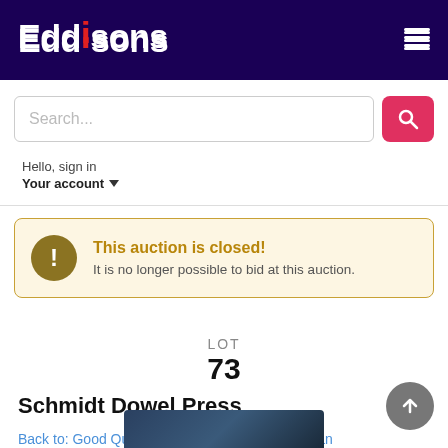Eddisons
[Figure (screenshot): Search bar with placeholder 'Search...' and a pink/red search button with magnifying glass icon]
Hello, sign in
Your account
This auction is closed! It is no longer possible to bid at this auction.
LOT
73
Schmidt Dowel Press
Back to: Good Quality CNC Machine Tools from an Aluminium Die Casting Plant